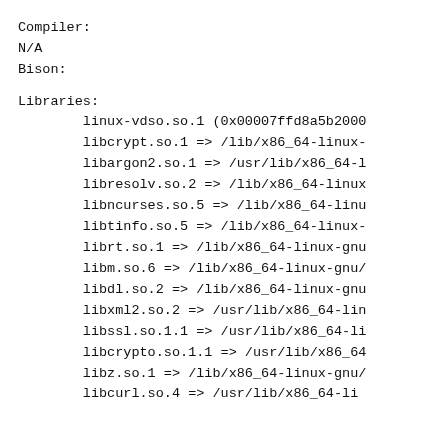Compiler:
N/A
Bison:
Libraries:
        linux-vdso.so.1 (0x00007ffd8a5b2000
        libcrypt.so.1 => /lib/x86_64-linux-
        libargon2.so.1 => /usr/lib/x86_64-l
        libresolv.so.2 => /lib/x86_64-linux
        libncurses.so.5 => /lib/x86_64-linu
        libtinfo.so.5 => /lib/x86_64-linux-
        librt.so.1 => /lib/x86_64-linux-gnu
        libm.so.6 => /lib/x86_64-linux-gnu/
        libdl.so.2 => /lib/x86_64-linux-gnu
        libxml2.so.2 => /usr/lib/x86_64-lin
        libssl.so.1.1 => /usr/lib/x86_64-li
        libcrypto.so.1.1 => /usr/lib/x86_64
        libz.so.1 => /lib/x86_64-linux-gnu/
        libcurl.so.4 => /usr/lib/x86_64-li